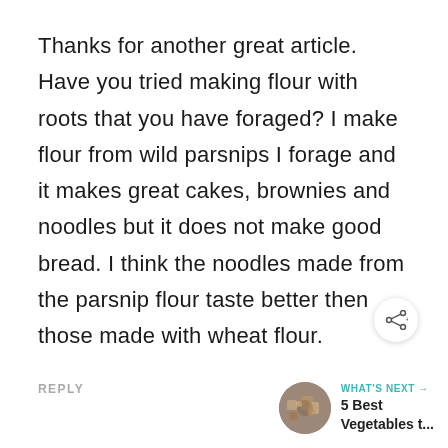Thanks for another great article. Have you tried making flour with roots that you have foraged? I make flour from wild parsnips I forage and it makes great cakes, brownies and noodles but it does not make good bread. I think the noodles made from the parsnip flour taste better then those made with wheat flour.
REPLY
[Figure (other): Share icon (network share symbol) in a white circular button with shadow]
[Figure (photo): Small circular thumbnail image of food/grains next to 'WHAT'S NEXT' label and '5 Best Vegetables t...' text]